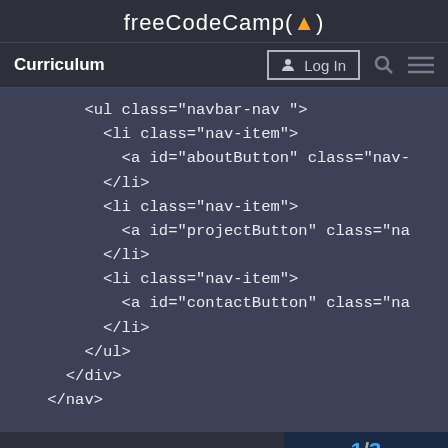freeCodeCamp(🔥)
Curriculum | Log In
[Figure (screenshot): A code snippet showing HTML navigation markup with ul, li, and anchor tags for navbar-nav, nav-item, aboutButton, projectButton, and contactButton classes, displayed in a dark-themed code editor area.]
1/3